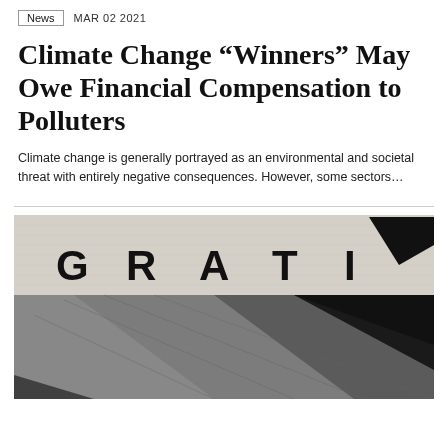News  MAR 02 2021
Climate Change “Winners” May Owe Financial Compensation to Polluters
Climate change is generally portrayed as an environmental and societal threat with entirely negative consequences. However, some sectors…
[Figure (photo): Partial image of letters G R A T I on a textured stone/concrete background, with abstract dark geometric shapes below]